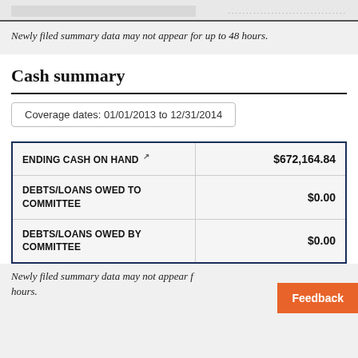Newly filed summary data may not appear for up to 48 hours.
Cash summary
Coverage dates: 01/01/2013 to 12/31/2014
|  |  |
| --- | --- |
| ENDING CASH ON HAND | $672,164.84 |
| DEBTS/LOANS OWED TO COMMITTEE | $0.00 |
| DEBTS/LOANS OWED BY COMMITTEE | $0.00 |
Newly filed summary data may not appear for up to 48 hours.